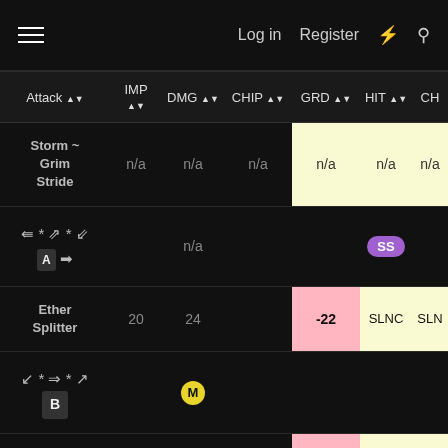Log in  Register
| Attack | IMP | DMG | CHIP | GRD | HIT | CH |
| --- | --- | --- | --- | --- | --- | --- |
| Storm ~ Grim Stride | n/a | n/a | n/a | n/a | n/a | n/a |
| [input icons] |  | n/a |  | SS |  |  |
| Ether Splitter | 20 | 24 |  | -22 | SLNC | SLNC |
| [input icons] B |  | M |  |  |  |  |
| Ether Splitter ~ Grim Stride | 20 | 24 |  | -2 | SLNC | SLNC |